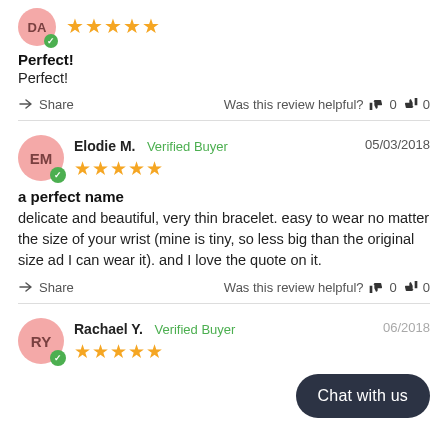[Figure (other): Reviewer avatar circle with initials DA and green checkmark, 5 gold stars rating]
Perfect!
Perfect!
Share   Was this review helpful? 👍 0 👎 0
[Figure (other): Reviewer avatar circle with initials EM and green checkmark, 5 gold stars rating, name: Elodie M., Verified Buyer, date: 05/03/2018]
a perfect name
delicate and beautiful, very thin bracelet. easy to wear no matter the size of your wrist (mine is tiny, so less big than the original size ad I can wear it). and I love the quote on it.
Share   Was this review helpful? 👍 0 👎 0
[Figure (other): Reviewer avatar circle with initials RY and green checkmark, 5 gold stars rating, name: Rachael Y., Verified Buyer, date partially visible 06/2018]
Chat with us